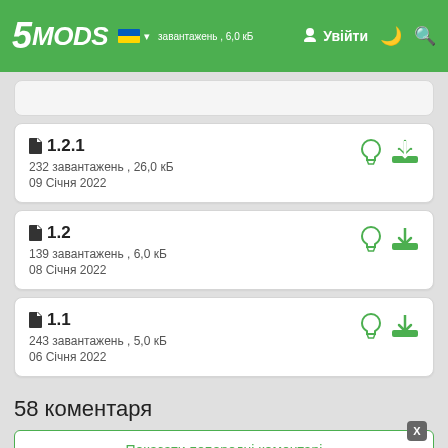5MODS | Увійти
1.2.1 | 232 завантажень , 26,0 кБ | 09 Січня 2022
1.2 | 139 завантажень , 6,0 кБ | 08 Січня 2022
1.1 | 243 завантажень , 5,0 кБ | 06 Січня 2022
58 коментаря
Показати попередні коментарі
Suzerain001